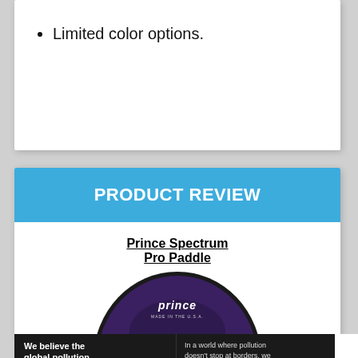Limited color options.
PRODUCT REVIEW
Prince Spectrum Pro Paddle
[Figure (photo): Photo of the Prince Spectrum Pro Paddle — a round black and purple paddle with 'prince MADE IN THE U.S.A.' text on the face, partially visible at bottom of card.]
[Figure (infographic): Pure Earth advertisement banner: left section 'We believe the global pollution crisis can be solved.' (green highlight), center: 'In a world where pollution doesn't stop at borders, we can all be part of the solution. JOIN US.', right: Pure Earth logo with diamond/arrow icon.]